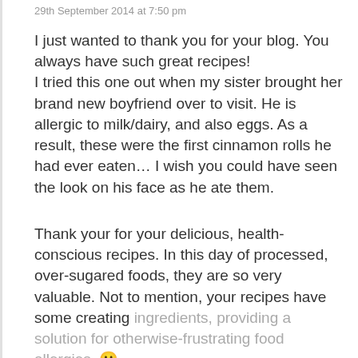29th September 2014 at 7:50 pm
I just wanted to thank you for your blog. You always have such great recipes!
I tried this one out when my sister brought her brand new boyfriend over to visit. He is allergic to milk/dairy, and also eggs. As a result, these were the first cinnamon rolls he had ever eaten… I wish you could have seen the look on his face as he ate them.
Thank your for your delicious, health-conscious recipes. In this day of processed, over-sugared foods, they are so very valuable. Not to mention, your recipes have some creating ingredients, providing a solution for otherwise-frustrating food allergies. 🙂